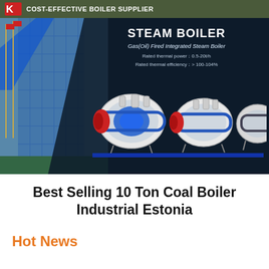COST-EFFECTIVE BOILER SUPPLIER
[Figure (photo): Banner image showing steam boilers with building background. Text overlay: STEAM BOILER, Gas(Oil) Fired Integrated Steam Boiler, Rated thermal power: 0.5-20t/h, Rated thermal efficiency: > 100-104%]
Best Selling 10 Ton Coal Boiler Industrial Estonia
Hot News